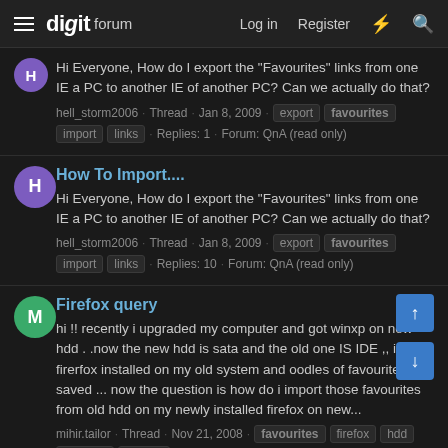digit forum  Log in  Register
Hi Everyone, How do I export the "Favourites" links from one IE a PC to another IE of another PC? Can we actually do that?
hell_storm2006 · Thread · Jan 8, 2009 · export  favourites  import  links · Replies: 1 · Forum: QnA (read only)
How To Import....
Hi Everyone, How do I export the "Favourites" links from one IE a PC to another IE of another PC? Can we actually do that?
hell_storm2006 · Thread · Jan 8, 2009 · export  favourites  import  links · Replies: 10 · Forum: QnA (read only)
Firefox query
hi !! recently i upgraded my computer and got winxp on new hdd . .now the new hdd is sata and the old one IS IDE ,, i have firerfox installed on my old system and oodles of favourites saved ... now the question is how do i import those favourites from old hdd on my newly installed firefox on new...
mihir.tailor · Thread · Nov 21, 2008 · favourites  firefox  hdd  installed  system · Replies: 4 · Forum: Software Q&A